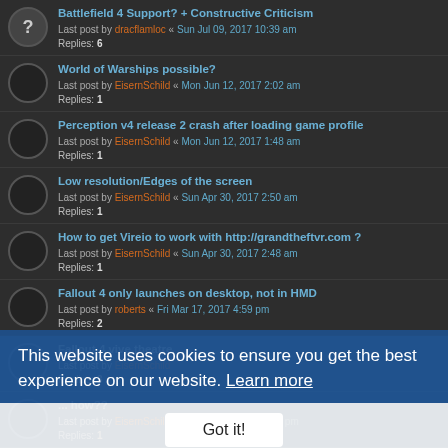Battlefield 4 Support? + Constructive Criticism
Last post by dracflamloc « Sun Jul 09, 2017 10:39 am
Replies: 6
World of Warships possible?
Last post by EisernSchild « Mon Jun 12, 2017 2:02 am
Replies: 1
Perception v4 release 2 crash after loading game profile
Last post by EisernSchild « Mon Jun 12, 2017 1:48 am
Replies: 1
Low resolution/Edges of the screen
Last post by EisernSchild « Sun Apr 30, 2017 2:50 am
Replies: 1
How to get Vireio to work with http://grandtheftvr.com ?
Last post by EisernSchild « Sun Apr 30, 2017 2:48 am
Replies: 1
Fallout 4 only launches on desktop, not in HMD
Last post by roberts « Fri Mar 17, 2017 4:59 pm
Replies: 2
Fallout 4 vive theatre
Last post by EisernSchild
Replies: 3
... how??
Last post by EisernSchild « Tue Mar 14, 2017 2:41 pm
Replies: 1
4.3 Fallout 4 Can't Look! (Rift)
Last post by EisernSchild « Sat Jan 28, 2017 3:28 pm
Replies: 5
What exactly is the focus of the vireio perception?
This website uses cookies to ensure you get the best experience on our website. Learn more
Got it!